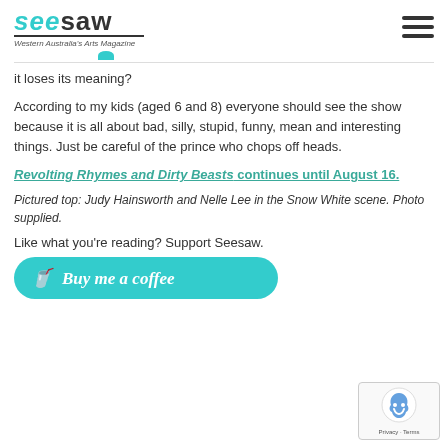seesaw — Western Australia's Arts Magazine
it loses its meaning?
According to my kids (aged 6 and 8) everyone should see the show because it is all about bad, silly, stupid, funny, mean and interesting things. Just be careful of the prince who chops off heads.
Revolting Rhymes and Dirty Beasts continues until August 16.
Pictured top: Judy Hainsworth and Nelle Lee in the Snow White scene. Photo supplied.
Like what you're reading? Support Seesaw.
[Figure (other): Buy me a coffee button — teal rounded rectangle with coffee cup icon and italic text 'Buy me a coffee']
[Figure (other): reCAPTCHA badge — small box in bottom right corner with Google reCAPTCHA logo and 'Privacy - Terms' text]